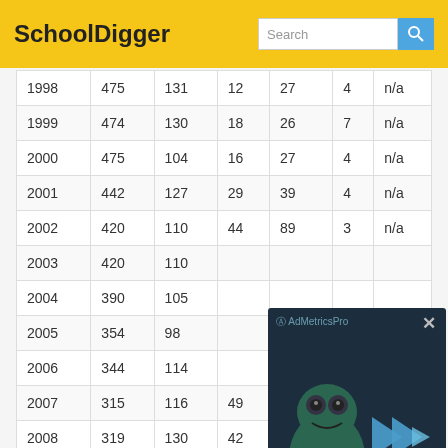SchoolDigger
| 1998 | 475 | 131 | 12 | 27 | 4 | n/a |
| 1999 | 474 | 130 | 18 | 26 | 7 | n/a |
| 2000 | 475 | 104 | 16 | 27 | 4 | n/a |
| 2001 | 442 | 127 | 29 | 39 | 4 | n/a |
| 2002 | 420 | 110 | 44 | 89 | 3 | n/a |
| 2003 | 420 | 110 |  |  |  |  |
| 2004 | 390 | 105 |  |  |  |  |
| 2005 | 354 | 98 |  |  |  |  |
| 2006 | 344 | 114 |  |  |  |  |
| 2007 | 315 | 116 | 49 | 122 | 5 | n/a |
| 2008 | 319 | 130 | 42 | 130 | 4 | n/a |